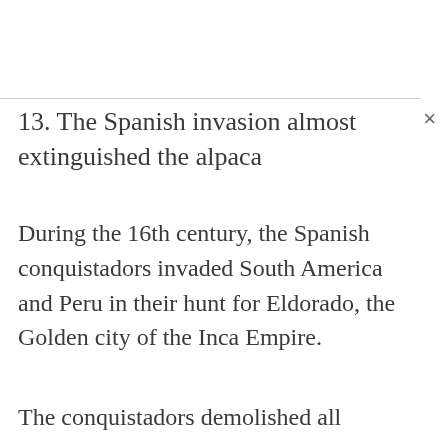13. The Spanish invasion almost extinguished the alpaca
During the 16th century, the Spanish conquistadors invaded South America and Peru in their hunt for Eldorado, the Golden city of the Inca Empire.
The conquistadors demolished all